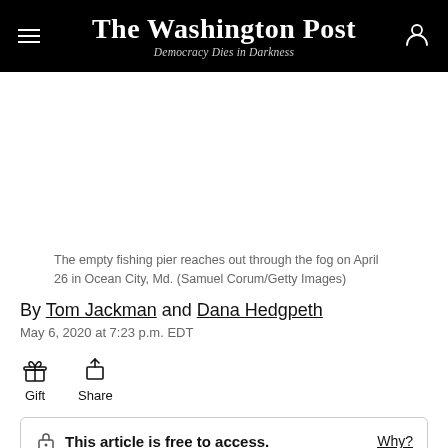The Washington Post — Democracy Dies in Darkness
The empty fishing pier reaches out through the fog on April 26 in Ocean City, Md. (Samuel Corum/Getty Images)
By Tom Jackman and Dana Hedgpeth
May 6, 2020 at 7:23 p.m. EDT
Gift   Share
This article is free to access.   Why?